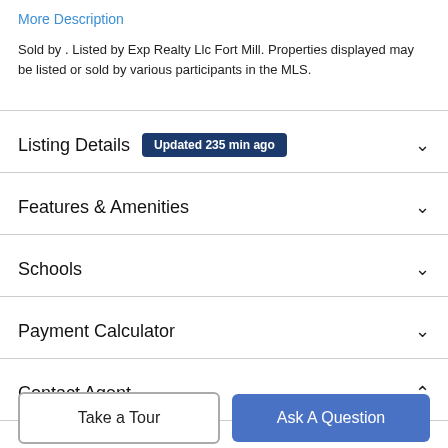More Description
Sold by . Listed by Exp Realty Llc Fort Mill. Properties displayed may be listed or sold by various participants in the MLS.
Listing Details  Updated 235 min ago
Features & Amenities
Schools
Payment Calculator
Contact Agent
Take a Tour
Ask A Question